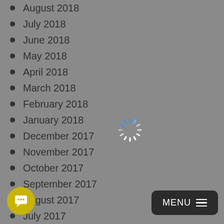August 2018
July 2018
June 2018
May 2018
April 2018
March 2018
February 2018
January 2018
December 2017
November 2017
October 2017
September 2017
August 2017
July 2017
June 2017
May 2017
April 2017
March 2017
February 2017
January 2017
December 2016
[Figure (other): Loading spinner icon (circular dashed animation)]
[Figure (other): Chat bubble button (yellow circular button)]
[Figure (other): MENU hamburger button (dark rounded rectangle)]